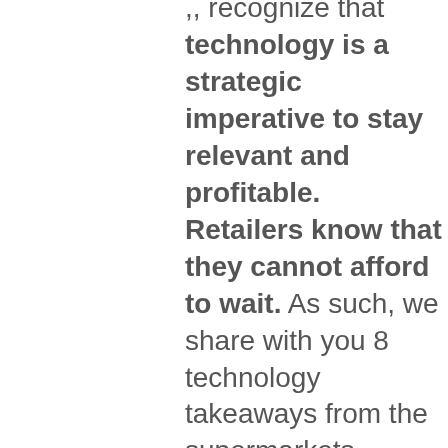recognize that technology is a strategic imperative to stay relevant and profitable. Retailers know that they cannot afford to wait. As such, we share with you 8 technology takeaways from the supermarkets.